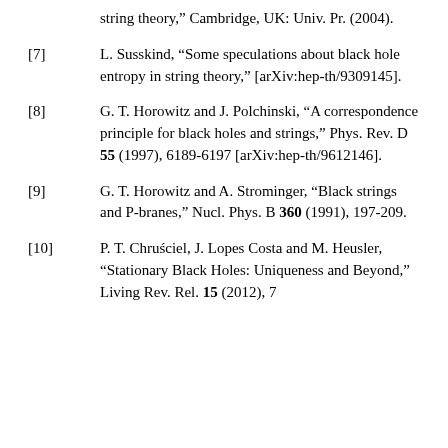string theory," Cambridge, UK: Univ. Pr. (2004).
[7] L. Susskind, "Some speculations about black hole entropy in string theory," [arXiv:hep-th/9309145].
[8] G. T. Horowitz and J. Polchinski, "A correspondence principle for black holes and strings," Phys. Rev. D 55 (1997), 6189-6197 [arXiv:hep-th/9612146].
[9] G. T. Horowitz and A. Strominger, "Black strings and P-branes," Nucl. Phys. B 360 (1991), 197-209.
[10] P. T. Chruściel, J. Lopes Costa and M. Heusler, "Stationary Black Holes: Uniqueness and Beyond," Living Rev. Rel. 15 (2012), 7